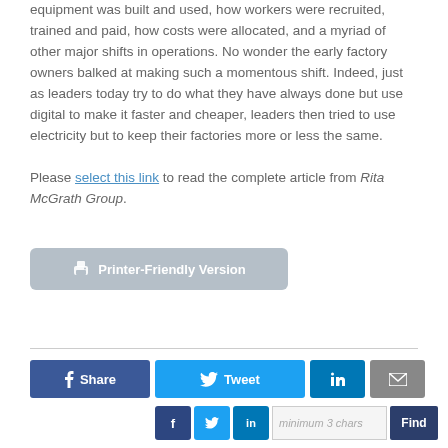equipment was built and used, how workers were recruited, trained and paid, how costs were allocated, and a myriad of other major shifts in operations. No wonder the early factory owners balked at making such a momentous shift. Indeed, just as leaders today try to do what they have always done but use digital to make it faster and cheaper, leaders then tried to use electricity but to keep their factories more or less the same.
Please select this link to read the complete article from Rita McGrath Group.
[Figure (other): Printer-Friendly Version button with printer icon]
[Figure (other): Social share buttons: Share (Facebook), Tweet (Twitter), LinkedIn, Email]
[Figure (other): Bottom bar with small Facebook, Twitter, LinkedIn icons, search input 'minimum 3 chars', and Find button]